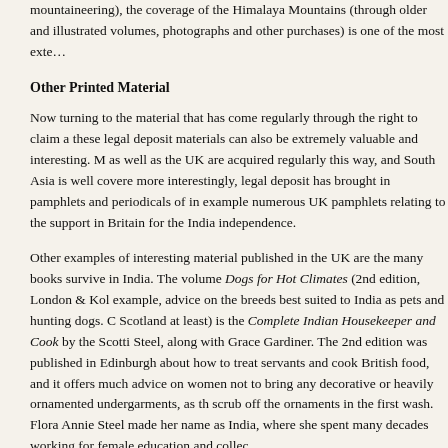mountaineering), the coverage of the Himalaya Mountains (through older and illustrated volumes, photographs and other purchases) is one of the most exte...
Other Printed Material
Now turning to the material that has come regularly through the right to claim a these legal deposit materials can also be extremely valuable and interesting. M as well as the UK are acquired regularly this way, and South Asia is well covere more interestingly, legal deposit has brought in pamphlets and periodicals of i example numerous UK pamphlets relating to the support in Britain for the India independence.
Other examples of interesting material published in the UK are the many books survive in India. The volume Dogs for Hot Climates (2nd edition, London & Kol example, advice on the breeds best suited to India as pets and hunting dogs. C Scotland at least) is the Complete Indian Housekeeper and Cook by the Scotti Steel, along with Grace Gardiner. The 2nd edition was published in Edinburgh about how to treat servants and cook British food, and it offers much advice on women not to bring any decorative or heavily ornamented undergarments, as t scrub off the ornaments in the first wash. Flora Annie Steel made her name as India, where she spent many decades working for female education and collec
Many items of interest have come to the library over the years. These can be s or books, and they can be received by legal deposit (if British) or can be purcha foreign. Another example of an interesting curiosity reflecting Scotland-Kolkata catalogue of the Kolkata-based Scottish pharmaceutical company Bathgate...